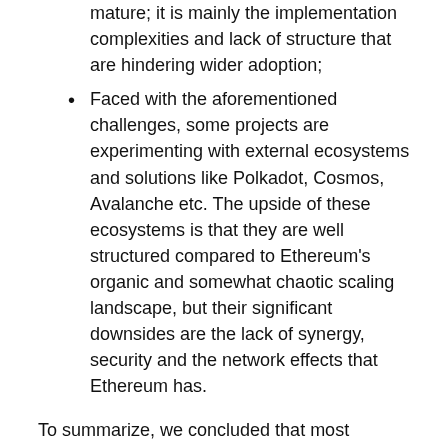mature; it is mainly the implementation complexities and lack of structure that are hindering wider adoption;
Faced with the aforementioned challenges, some projects are experimenting with external ecosystems and solutions like Polkadot, Cosmos, Avalanche etc. The upside of these ecosystems is that they are well structured compared to Ethereum's organic and somewhat chaotic scaling landscape, but their significant downsides are the lack of synergy, security and the network effects that Ethereum has.
To summarize, we concluded that most developers and projects want to build their scaling solutions within the Ethereum ecosystem in order to benefit from its security and network effects. However, they are struggling to navigate its unstructured scaling